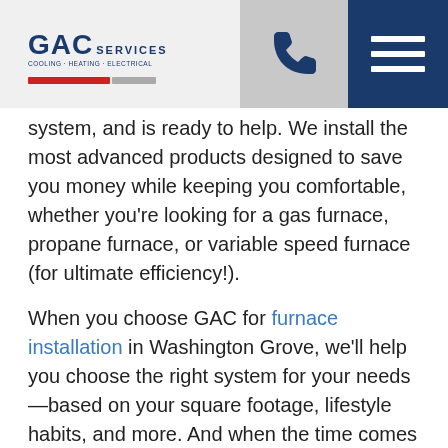[Figure (logo): GAC Services logo with red and grey stripes, blue text]
system, and is ready to help. We install the most advanced products designed to save you money while keeping you comfortable, whether you're looking for a gas furnace, propane furnace, or variable speed furnace (for ultimate efficiency!).
When you choose GAC for furnace installation in Washington Grove, we'll help you choose the right system for your needs—based on your square footage, lifestyle habits, and more. And when the time comes for a repair or tune-up, we can help there, too. All of our vehicles are stocked with the most common furnace repair parts, so you'll never have to worry about sitting in the cold for long.
Want to go to the top of our service list if and when your